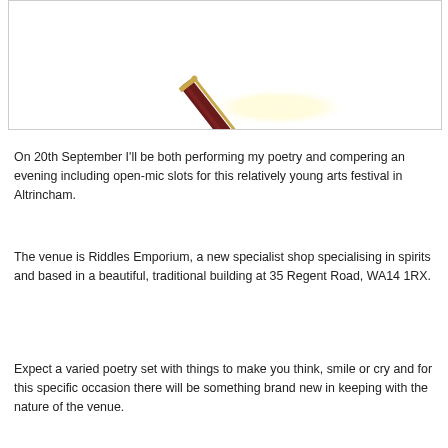[Figure (photo): Close-up photo of a decorative fountain pen nib touching paper, with a slight golden glow at the tip, on a white background]
On 20th September I'll be both performing my poetry and compering an evening including open-mic slots for this relatively young arts festival in Altrincham.
The venue is Riddles Emporium, a new specialist shop specialising in spirits and based in a beautiful, traditional building at 35 Regent Road, WA14 1RX.
Expect a varied poetry set with things to make you think, smile or cry and for this specific occasion there will be something brand new in keeping with the nature of the venue.